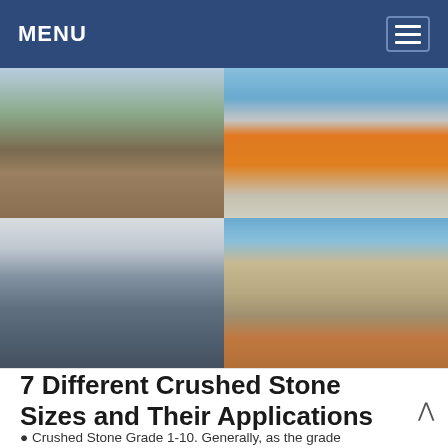MENU
[Figure (photo): Four photos of stone crushing and aggregate processing equipment at industrial quarry sites. Top-left: outdoor quarry site with orange crusher and conveyor equipment. Top-right: close-up of orange industrial crusher machine on concrete platform. Bottom-left: tall industrial silo and tower structure with blue steel framework. Bottom-right: conveyor belt and industrial building at a stone processing facility.]
7 Different Crushed Stone Sizes and Their Applications
Crushed Stone Grade 1-10. Generally, as the grade